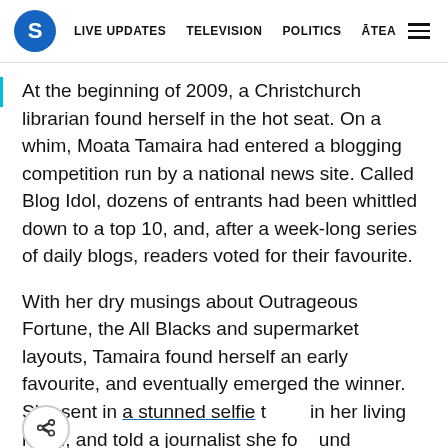S | LIVE UPDATES  TELEVISION  POLITICS  ĀTEA
At the beginning of 2009, a Christchurch librarian found herself in the hot seat. On a whim, Moata Tamaira had entered a blogging competition run by a national news site. Called Blog Idol, dozens of entrants had been whittled down to a top 10, and, after a week-long series of daily blogs, readers voted for their favourite.
With her dry musings about Outrageous Fortune, the All Blacks and supermarket layouts, Tamaira found herself an early favourite, and eventually emerged the winner. She sent in a stunned selfie to in her living room, and told a journalist she found inspiration by "getting wound up" about things.